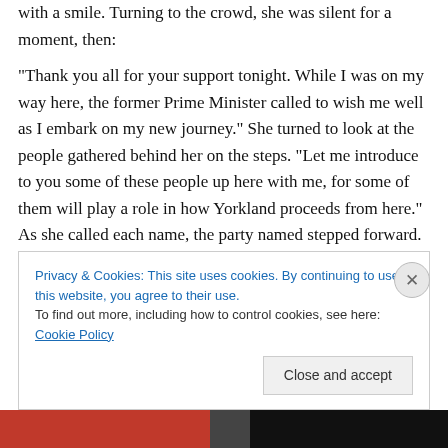with a smile. Turning to the crowd, she was silent for a moment, then:

“Thank you all for your support tonight. While I was on my way here, the former Prime Minister called to wish me well as I embark on my new journey.” She turned to look at the people gathered behind her on the steps. “Let me introduce to you some of these people up here with me, for some of them will play a role in how Yorkland proceeds from here.” As she called each name, the party named stepped forward. Finally, there were only two people left.

“Next is my brother Aden, without who’s encouragement I
Privacy & Cookies: This site uses cookies. By continuing to use this website, you agree to their use.
To find out more, including how to control cookies, see here: Cookie Policy